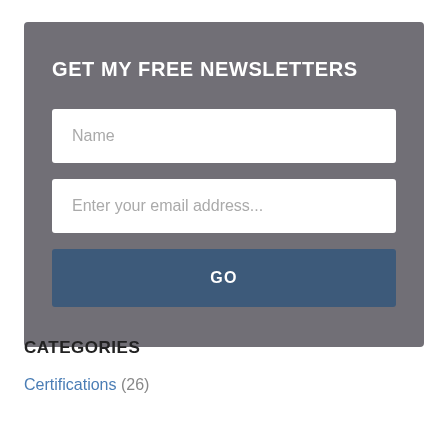GET MY FREE NEWSLETTERS
[Figure (screenshot): Newsletter signup form with Name input, email address input, and a GO button, all on a grey background]
CATEGORIES
Certifications (26)